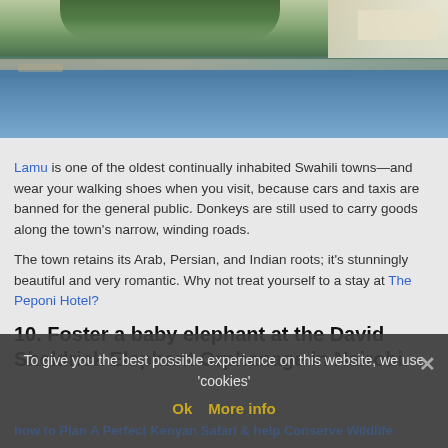[Figure (photo): Coastal waterfront scene showing a calm bay with palm trees and white buildings along the shore, sky reflected in the water — Lamu, Kenya]
Lamu is one of the oldest continually inhabited Swahili towns—and wear your walking shoes when you visit, because cars and taxis are banned for the general public. Donkeys are still used to carry goods along the town's narrow, winding roads.
The town retains its Arab, Persian, and Indian roots; it's stunningly beautiful and very romantic. Why not treat yourself to a stay at The Peponi Hotel?
10. Foster a baby elephant at the David Sheldrick Elephant Orphanage in Nairobi.
To give you the best possible experience on this website, we use 'cookies'
Ok   More info